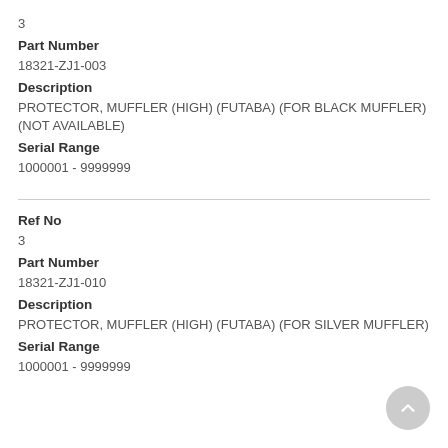3
Part Number
18321-ZJ1-003
Description
PROTECTOR, MUFFLER (HIGH) (FUTABA) (FOR BLACK MUFFLER) (NOT AVAILABLE)
Serial Range
1000001 - 9999999
Ref No
3
Part Number
18321-ZJ1-010
Description
PROTECTOR, MUFFLER (HIGH) (FUTABA) (FOR SILVER MUFFLER)
Serial Range
1000001 - 9999999